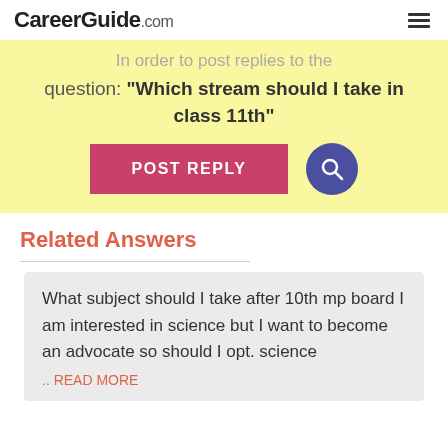CareerGuide.com
In order to post replies to the question: "Which stream should I take in class 11th"
POST REPLY
Related Answers
What subject should I take after 10th mp board I am interested in science but I want to become an advocate so should I opt. science .. READ MORE